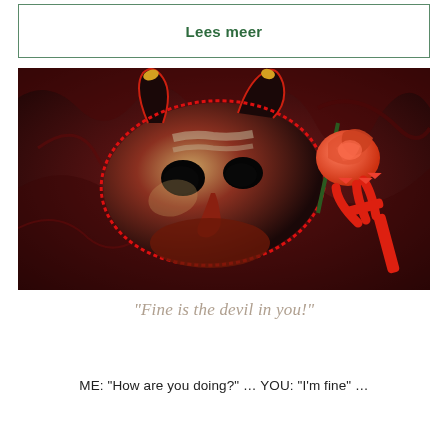Lees meer
[Figure (photo): A decorative devil mask (red, black and gold Venetian style with horns) alongside an orange-red rose and a red toy trident/pitchfork, all arranged on a dark crumpled red fabric background.]
"Fine is the devil in you!"
ME: “How are you doing?” … YOU: “I’m fine” …